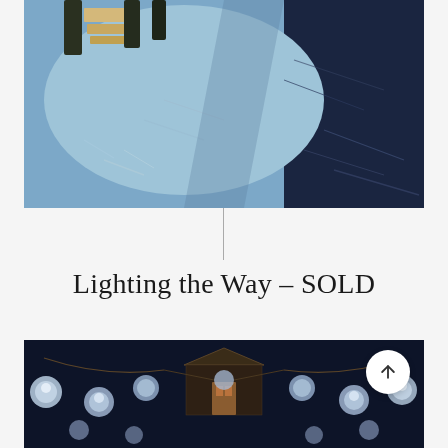[Figure (photo): Painting of a light blue and dark navy abstract boat/ship scene with textured impasto brushstrokes. The upper portion shows pale blue tones with building-like structures at top, transitioning to dark navy at the right side.]
Lighting the Way – SOLD
[Figure (photo): Dark navy painting of a house or pavilion structure with hanging lanterns or light globes strung across the front, creating a warm festive scene against a very dark background.]